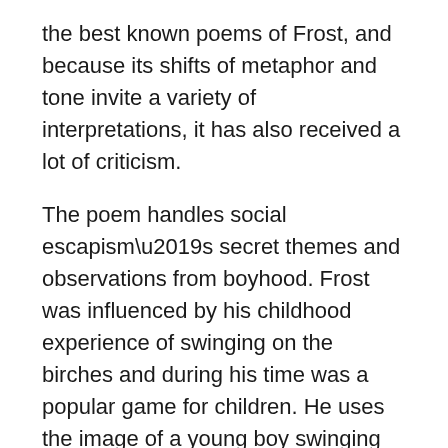the best known poems of Frost, and because its shifts of metaphor and tone invite a variety of interpretations, it has also received a lot of criticism.
The poem handles social escapism’s secret themes and observations from boyhood. Frost was influenced by his childhood experience of swinging on the birches and during his time was a popular game for children. He uses the image of a young boy swinging freely from the branches of birch trees.
“Birches,” the critic writes, “asserts the claims of Robert Frost’s scepticism and sense of human limits against the desire for transcendence and the sense of mysterious possibility.”